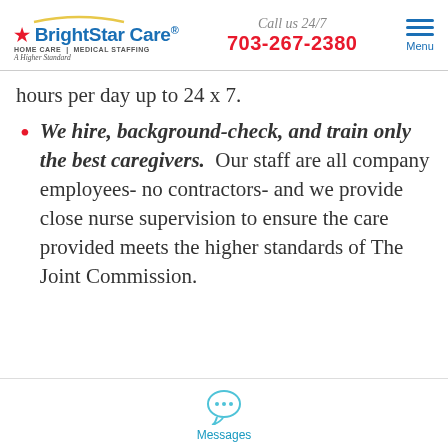BrightStar Care HOME CARE | MEDICAL STAFFING A Higher Standard | Call us 24/7 703-267-2380 | Menu
hours per day up to 24 x 7.
We hire, background-check, and train only the best caregivers. Our staff are all company employees- no contractors- and we provide close nurse supervision to ensure the care provided meets the higher standards of The Joint Commission.
Messages